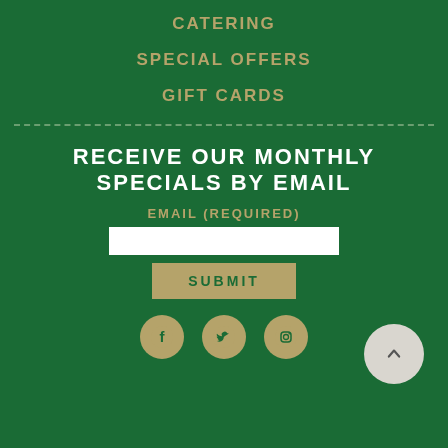CATERING
SPECIAL OFFERS
GIFT CARDS
RECEIVE OUR MONTHLY SPECIALS BY EMAIL
EMAIL (REQUIRED)
[Figure (screenshot): Email input text field (white rectangle)]
[Figure (screenshot): Submit button with tan/gold background]
[Figure (infographic): Social media icons: Facebook, Twitter, Instagram in tan circles]
[Figure (infographic): Back to top button: light gray circle with upward chevron]